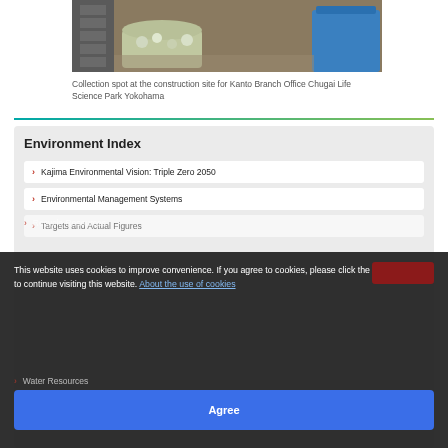[Figure (photo): Photo of a collection spot at a construction site showing recycling bins with plastic bottles and other materials on a carpeted floor, with a blue container visible.]
Collection spot at the construction site for Kanto Branch Office Chugai Life Science Park Yokohama
Kajima Environmental Vision: Triple Zero 2050
Environmental Management Systems
Targets and Actual Figures
Recycle Resources
Water Resources
This website uses cookies to improve convenience. If you agree to cookies, please click the "Agree" button to continue visiting this website. About the use of cookies